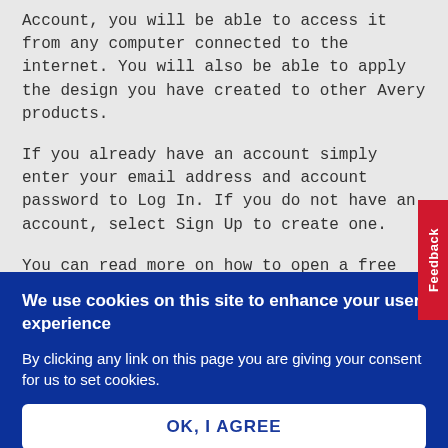Account, you will be able to access it from any computer connected to the internet. You will also be able to apply the design you have created to other Avery products.
If you already have an account simply enter your email address and account password to Log In. If you do not have an account, select Sign Up to create one.
You can read more on how to open a free Avery Account here.
Feedback
We use cookies on this site to enhance your user experience
By clicking any link on this page you are giving your consent for us to set cookies.
OK, I AGREE